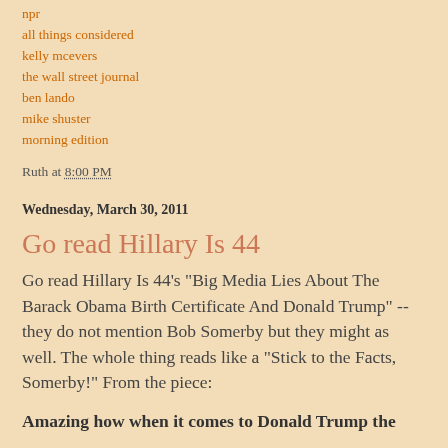npr
all things considered
kelly mcevers
the wall street journal
ben lando
mike shuster
morning edition
Ruth at 8:00 PM
Wednesday, March 30, 2011
Go read Hillary Is 44
Go read Hillary Is 44's "Big Media Lies About The Barack Obama Birth Certificate And Donald Trump" -- they do not mention Bob Somerby but they might as well. The whole thing reads like a "Stick to the Facts, Somerby!" From the piece:
Amazing how when it comes to Donald Trump the